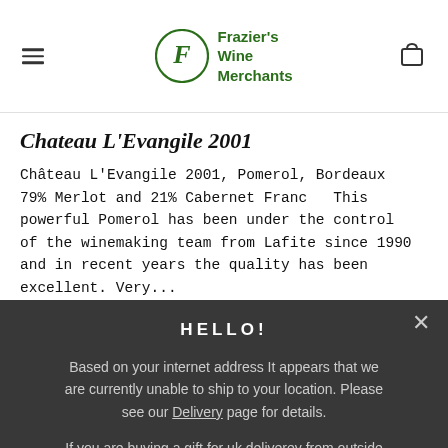Frazier's Wine Merchants
Chateau L'Evangile 2001
Château L'Evangile 2001, Pomerol, Bordeaux 79% Merlot and 21% Cabernet Franc   This powerful Pomerol has been under the control of the winemaking team from Lafite since 1990 and in recent years the quality has been excellent. Very...
HELLO!
Based on your internet address It appears that we are currently unable to ship to your location. Please see our Delivery page for details.
If you are buying a gift for uk deliverey from outside